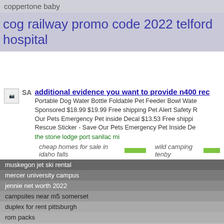coppertone baby
cog railway promo code 2022 telford hospital
additional evidence you want to provide n400 rec
Portable Dog Water Bottle Foldable Pet Feeder Bowl Wate... Sponsored $18.99 $19.99 Free shipping Pet Alert Safety R... Our Pets Emergency Pet inside Decal $13.53 Free shippi... Rescue Sticker - Save Our Pets Emergency Pet Inside De...
the stone lodge port sanilac mi
cheap homes for sale in idaho falls    wild camping tenby
muskegon jet ski rental
mercer university campus
jennie net worth 2022
campsites near m5 somerset
duplex for rent pittsburgh
rom packs
quotes for best senior friends
spark plug noise when accelerating
hotels under 70 dollars near me
preamplifier circuit diagram pdf